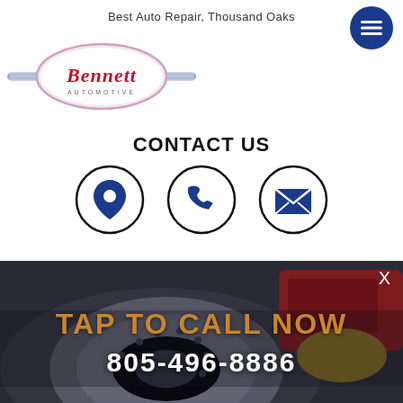Best Auto Repair, Thousand Oaks
[Figure (logo): Bennett Automotive logo — oval pink/white badge with chrome bolt accents and 'Bennett' in red script with 'AUTOMOTIVE' below]
[Figure (other): Dark blue circular hamburger menu button icon]
CONTACT US
[Figure (infographic): Three circular contact icons: location pin (map marker), phone handset, and envelope/mail — all dark navy blue inside black-bordered circles]
[Figure (photo): Close-up photo of a car brake rotor and red caliper with a mechanic's gloved hand working on it]
TAP TO CALL NOW
805-496-8886